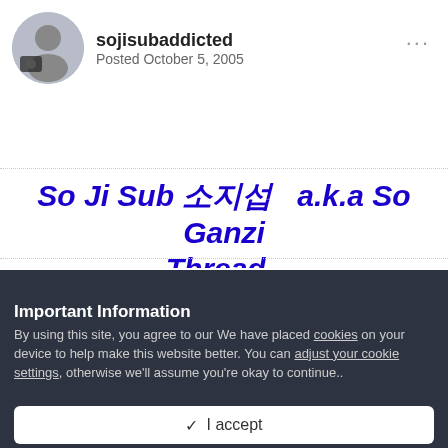sojisubaddicted
Posted October 5, 2005
So Ji Sub 소지섭  a.k.a So Ganzi Thread .
Let's share our loves and feelings to So Ji Sub oppa
Important Information
By using this site, you agree to our We have placed cookies on your device to help make this website better. You can adjust your cookie settings, otherwise we'll assume you're okay to continue..
✓  I accept